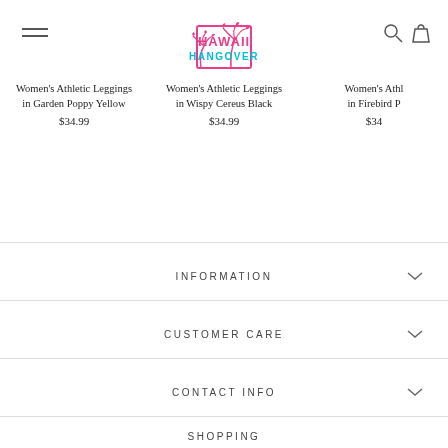[Figure (logo): Hawaii Hangover logo with pink palm trees and teal/pink text in a rectangle]
Women's Athletic Leggings in Garden Poppy Yellow
$34.99
Women's Athletic Leggings in Wispy Cereus Black
$34.99
Women's Athletic Leggings in Firebird P...
$34...
INFORMATION
CUSTOMER CARE
CONTACT INFO
SHOPPING